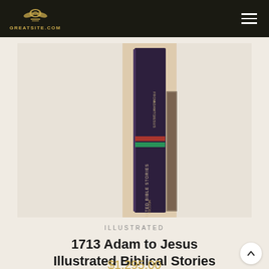GREATSITE.COM
[Figure (photo): Book spine photograph showing a dark purple/maroon hardcover book titled 'Adam to Jesus Illustrated Biblical Stories' from 1713, displayed upright showing its spine, with other books partially visible behind it on a wooden shelf.]
ILLUSTRATED
1713 Adam to Jesus Illustrated Biblical Stories
$1,295.00